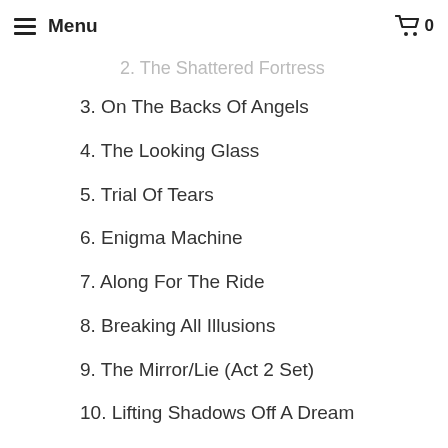Menu | Cart 0
2. The Shattered Fortress
3. On The Backs Of Angels
4. The Looking Glass
5. Trial Of Tears
6. Enigma Machine
7. Along For The Ride
8. Breaking All Illusions
9. The Mirror/Lie (Act 2 Set)
10. Lifting Shadows Off A Dream
11. Scarred
12. Space Dye Vest
13. Illumination Theory: i. Paradoxe de la